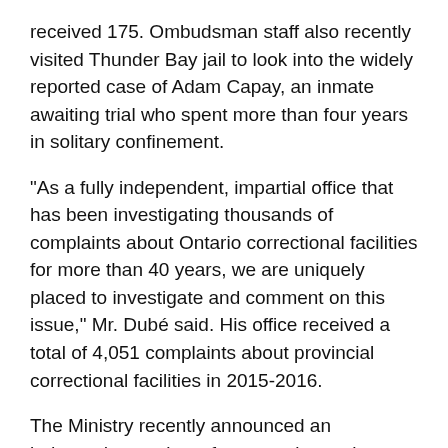received 175. Ombudsman staff also recently visited Thunder Bay jail to look into the widely reported case of Adam Capay, an inmate awaiting trial who spent more than four years in solitary confinement.
"As a fully independent, impartial office that has been investigating thousands of complaints about Ontario correctional facilities for more than 40 years, we are uniquely placed to investigate and comment on this issue," Mr. Dubé said. His office received a total of 4,051 complaints about provincial correctional facilities in 2015-2016.
The Ministry recently announced an independent review of segregation, to be headed by outgoing federal corrections investigator Howard Sapers, beginning in January 2017. "Our investigation, planned before the appointment of the independent reviewer, will not conflict with the work the Ministry has asked Mr. Sapers to do," Mr. Dubé noted. "Rather, we expect that it will enhance that effort."